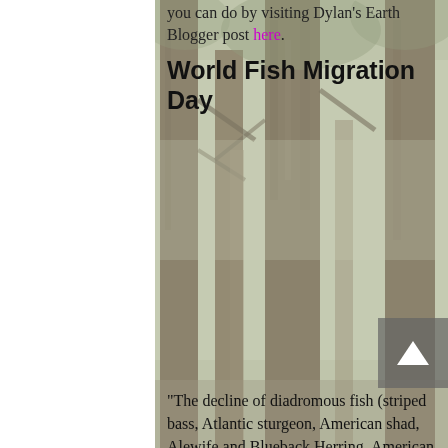you can do by visiting Dylan's Earth Blogger post here.
World Fish Migration Day
[Figure (photo): Forest background with tall trees, misty/foggy atmosphere visible through the text content area]
"The decline of diadromous fish (striped bass, Atlantic sturgeon, American shad, Alewife and Blueback Herring, American Eel, Brook Trout) has a major impact on the health of our coastal ecosystem, as these fish play a vital role in transferring ocean energy into estuarine, freshwater and upland habitats, and provide indispensable forage for countless other species. It is no exaggeration to say that they help to drive Long Island's